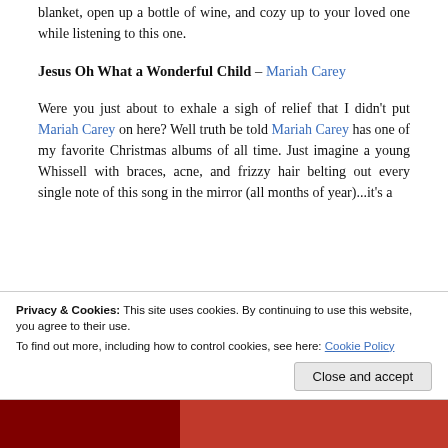blanket, open up a bottle of wine, and cozy up to your loved one while listening to this one.
Jesus Oh What a Wonderful Child – Mariah Carey
Were you just about to exhale a sigh of relief that I didn't put Mariah Carey on here? Well truth be told Mariah Carey has one of my favorite Christmas albums of all time. Just imagine a young Whissell with braces, acne, and frizzy hair belting out every single note of this song in the mirror (all months of year)...it's a
Privacy & Cookies: This site uses cookies. By continuing to use this website, you agree to their use.
To find out more, including how to control cookies, see here: Cookie Policy
Close and accept